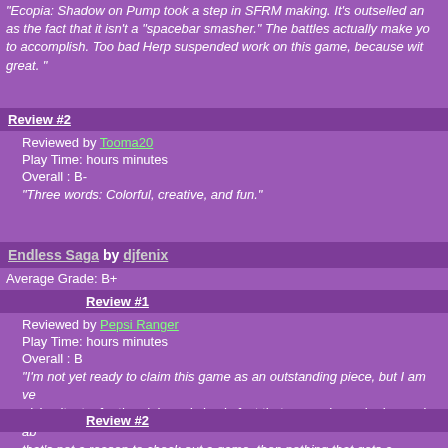"Ecopia: Shadow on Pump took a step in SFRM making. It's outselled and as the fact that it isn't a "spacebar smasher." The battles actually make you to accomplish. Too bad Herp suspended work on this game, because with great."
Review #2
Reviewed by Tooma20
Play Time: hours minutes
Overall : B-
"Three words: Colorful, creative, and fun."
Endless Saga by djfenix
Average Grade: B+
Review #1
Reviewed by Pepsi Ranger
Play Time: hours minutes
Overall : B
"I'm not yet ready to claim this game as an outstanding piece, but I am ve giving it a try for the plain and simple fact that so much can be learned ab that's not a reason to check out a game, then nothing that gets a decent d ready, and look both ways before crossing the street."
Review #2
Reviewed by Uncommon
Play Time: hours minutes
Overall : A-
"Overall, a pretty good game. I am highly anticipating the next release. Ju be awesome!"